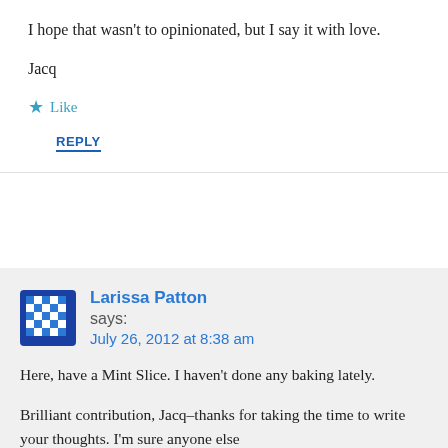I hope that wasn't to opinionated, but I say it with love.
Jacq
★ Like
REPLY
Larissa Patton says: July 26, 2012 at 8:38 am
Here, have a Mint Slice. I haven't done any baking lately.
Brilliant contribution, Jacq–thanks for taking the time to write your thoughts. I'm sure anyone else